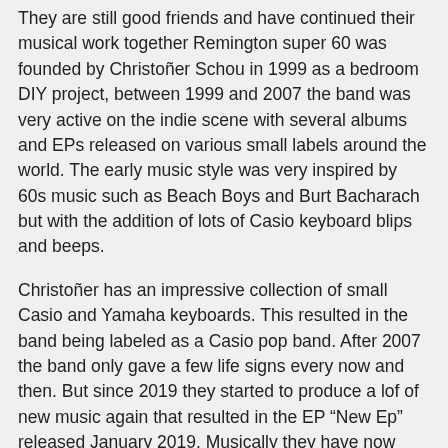They are still good friends and have continued their musical work together Remington super 60 was founded by Christoffer Schou in 1999 as a bedroom DIY project, between 1999 and 2007 the band was very active on the indie scene with several albums and EPs released on various small labels around the world. The early music style was very inspired by 60s music such as Beach Boys and Burt Bacharach but with the addition of lots of Casio keyboard blips and beeps.
Christoffer has an impressive collection of small Casio and Yamaha keyboards. This resulted in the band being labeled as a Casio pop band. After 2007 the band only gave a few life signs every now and then. But since 2019 they started to produce a lof of new music again that resulted in the EP "New Ep" released January 2019. Musically they have now been labeled more or less a dream pop band by various blogs.
The band is still a DIY project although not based in Christoffer's bedroom but in his living room. "Remington super 60 know how to cut a track" - Super world indie tunes "Dreamy